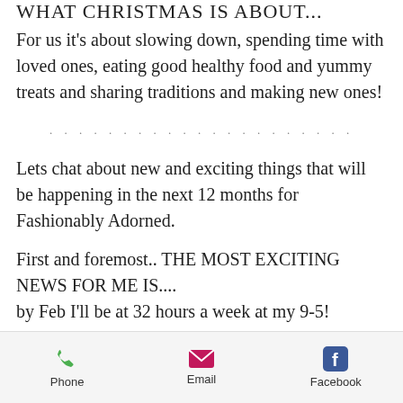WHAT CHRISTMAS IS ABOUT...
For us it's about slowing down, spending time with loved ones, eating good healthy food and yummy treats and sharing traditions and making new ones!
. . . . . . . . . . . . . . . . . . . . .
Lets chat about new and exciting things that will be happening in the next 12 months for Fashionably Adorned.
First and foremost.. THE MOST EXCITING NEWS FOR ME IS.... by Feb I'll be at 32 hours a week at my 9-5!
Phone   Email   Facebook